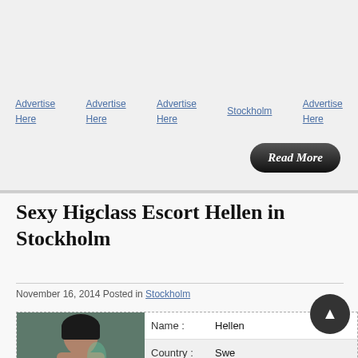Advertise Here
Advertise Here
Advertise Here
Stockholm
Advertise Here
Sexy Higclass Escort Hellen in Stockholm
November 16, 2014 Posted in Stockholm
| Name : |  | Country : |  | City : |  |
| --- | --- | --- | --- | --- | --- |
| Name : | Hellen |
| Country : | Swe(de) |
| City : | Stockh(olm) |